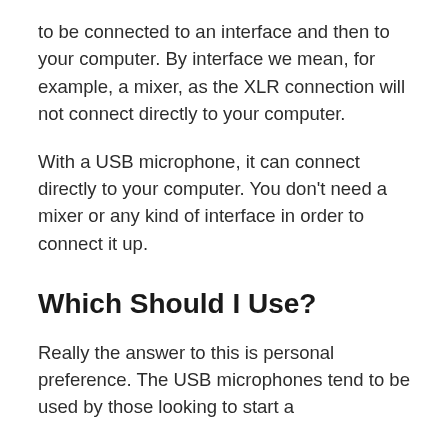to be connected to an interface and then to your computer. By interface we mean, for example, a mixer, as the XLR connection will not connect directly to your computer.
With a USB microphone, it can connect directly to your computer. You don't need a mixer or any kind of interface in order to connect it up.
Which Should I Use?
Really the answer to this is personal preference. The USB microphones tend to be used by those looking to start a